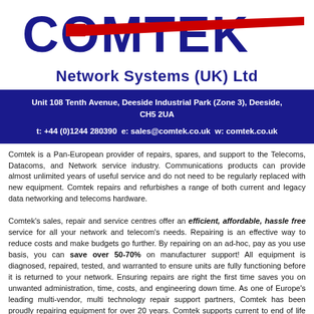[Figure (logo): COMTEK logo with large bold red and dark blue text, red diagonal line accent, and 'Network Systems (UK) Ltd' subtitle in dark blue bold text]
Unit 108 Tenth Avenue, Deeside Industrial Park (Zone 3), Deeside, CH5 2UA
t: +44 (0)1244 280390 e: sales@comtek.co.uk w: comtek.co.uk
Comtek is a Pan-European provider of repairs, spares, and support to the Telecoms, Datacoms, and Network service industry. Communications products can provide almost unlimited years of useful service and do not need to be regularly replaced with new equipment. Comtek repairs and refurbishes a range of both current and legacy data networking and telecoms hardware.
Comtek's sales, repair and service centres offer an efficient, affordable, hassle free service for all your network and telecom's needs. Repairing is an effective way to reduce costs and make budgets go further. By repairing on an ad-hoc, pay as you use basis, you can save over 50-70% on manufacturer support! All equipment is diagnosed, repaired, tested, and warranted to ensure units are fully functioning before it is returned to your network. Ensuring repairs are right the first time saves you on unwanted administration, time, costs, and engineering down time. As one of Europe's leading multi-vendor, multi technology repair support partners, Comtek has been proudly repairing equipment for over 20 years. Comtek supports current to end of life products and will continue to repair legacy equipment